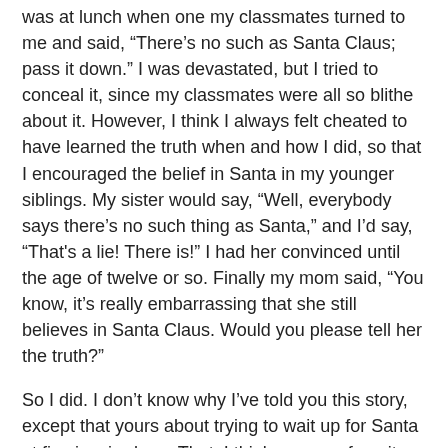was at lunch when one my classmates turned to me and said, “There’s no such as Santa Claus; pass it down.” I was devastated, but I tried to conceal it, since my classmates were all so blithe about it. However, I think I always felt cheated to have learned the truth when and how I did, so that I encouraged the belief in Santa in my younger siblings. My sister would say, “Well, everybody says there’s no such thing as Santa,” and I’d say, “That's a lie! There is!” I had her convinced until the age of twelve or so. Finally my mom said, “You know, it’s really embarrassing that she still believes in Santa Claus. Would you please tell her the truth?”
So I did. I don’t know why I’ve told you this story, except that yours about trying to wait up for Santa at five inspired me. That, I think, was my favorite part of an altogether fine post.
Reply